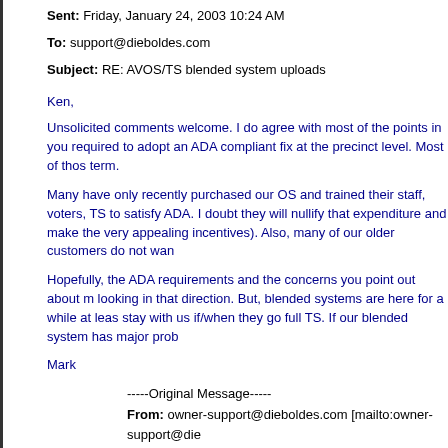Sent: Friday, January 24, 2003 10:24 AM
To: support@dieboldes.com
Subject: RE: AVOS/TS blended system uploads
Ken,
Unsolicited comments welcome. I do agree with most of the points in you required to adopt an ADA compliant fix at the precinct level. Most of thos term.
Many have only recently purchased our OS and trained their staff, voters, TS to satisfy ADA. I doubt they will nullify that expenditure and make the very appealing incentives). Also, many of our older customers do not wan
Hopefully, the ADA requirements and the concerns you point out about m looking in that direction. But, blended systems are here for a while at leas stay with us if/when they go full TS. If our blended system has major prob
Mark
-----Original Message-----
From: owner-support@dieboldes.com [mailto:owner-support@die
Sent: Thursday, January 23, 2003 8:28 PM
To: support@dieboldes.com
Subject: RE: AVOS/TS blended system uploads